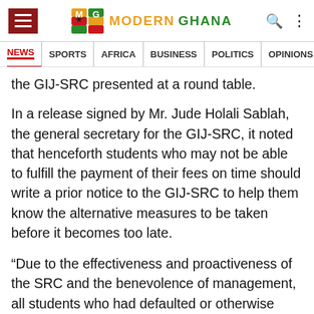Modern Ghana — NEWS | SPORTS | AFRICA | BUSINESS | POLITICS | OPINIONS | SHO
the GIJ-SRC presented at a round table.
In a release signed by Mr. Jude Holali Sablah, the general secretary for the GIJ-SRC, it noted that henceforth students who may not be able to fulfill the payment of their fees on time should write a prior notice to the GIJ-SRC to help them know the alternative measures to be taken before it becomes too late.
“Due to the effectiveness and proactiveness of the SRC and the benevolence of management, all students who had defaulted or otherwise paid fees after the deadline will be allowed to sit for this end of semester's exam.